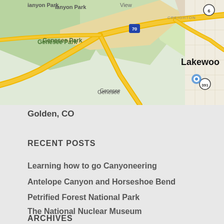[Figure (map): Google Maps view showing Golden, CO area including Genesee Park, William F Hayden Green Mountain Park, Lakewood, and surrounding roads including I-70, Highway 6, and Highway 391]
Golden, CO
RECENT POSTS
Learning how to go Canyoneering
Antelope Canyon and Horseshoe Bend
Petrified Forest National Park
The National Nuclear Museum
Santa Fe, New Mexico
ARCHIVES